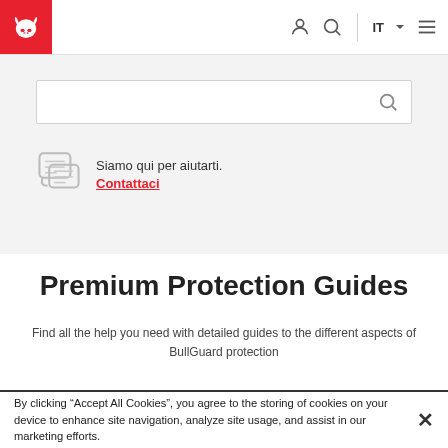[Figure (logo): BullGuard logo: white bull icon on red square background]
[Figure (screenshot): Navigation bar with user icon, search icon, language selector IT with dropdown arrow, and hamburger menu icon]
[Figure (screenshot): Search bar with search icon on gray background section, and contact row below with chat bubble icon, text 'Siamo qui per aiutarti.' and 'Contattaci' red link]
Premium Protection Guides
Find all the help you need with detailed guides to the different aspects of BullGuard protection
By clicking “Accept All Cookies”, you agree to the storing of cookies on your device to enhance site navigation, analyze site usage, and assist in our marketing efforts.